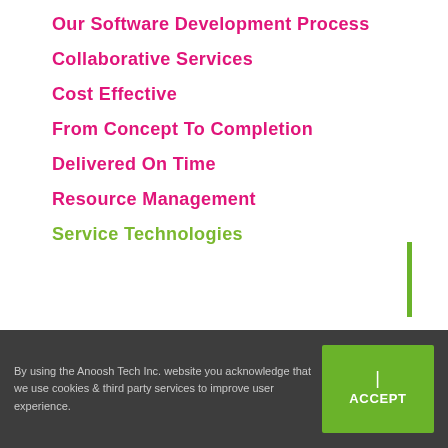Our Software Development Process
Collaborative Services
Cost Effective
From Concept To Completion
Delivered On Time
Resource Management
Service Technologies
By using the Anoosh Tech Inc. website you acknowledge that we use cookies & third party services to improve user experience.
| ACCEPT